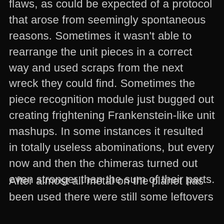flaws, as could be expected of a protocol that arose from seemingly spontaneous reasons. Sometimes it wasn't able to rearrange the unit pieces in a correct way and used scraps from the next wreck they could find. Sometimes the piece recognition module just bugged out creating frightening Frankenstein-like unit mashups. In some instances it resulted in totally useless abominations, but every now and then the chimeras turned out even stronger than the sum of their parts.
After almost all metal on the planet has been used there were still some leftovers…